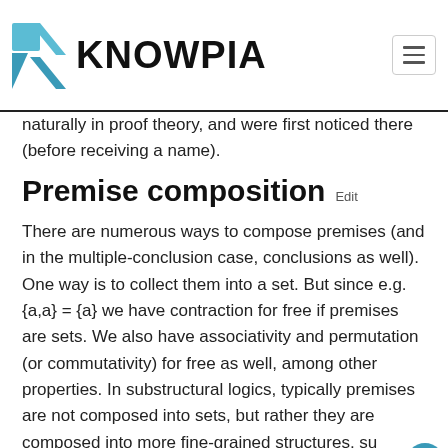KNOWPIA
The above are basic examples of structural rules. It is not the… …tentious, when applied in conventional propositional calculus. They occur naturally in proof theory, and were first noticed there (before receiving a name).
Premise composition
There are numerous ways to compose premises (and in the multiple-conclusion case, conclusions as well). One way is to collect them into a set. But since e.g. {a,a} = {a} we have contraction for free if premises are sets. We also have associativity and permutation (or commutativity) for free as well, among other properties. In substructural logics, typically premises are not composed into sets, but rather they are composed into more fine-grained structures, su… trees or multisets (sets that distinguish multiple occurrences of elements) or sequences of formulas